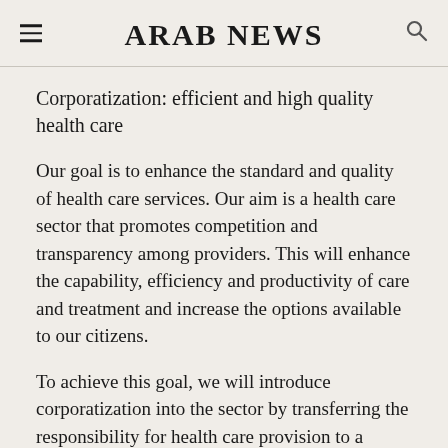ARAB NEWS
Corporatization: efficient and high quality health care
Our goal is to enhance the standard and quality of health care services. Our aim is a health care sector that promotes competition and transparency among providers. This will enhance the capability, efficiency and productivity of care and treatment and increase the options available to our citizens.
To achieve this goal, we will introduce corporatization into the sector by transferring the responsibility for health care provision to a network of public companies that compete both